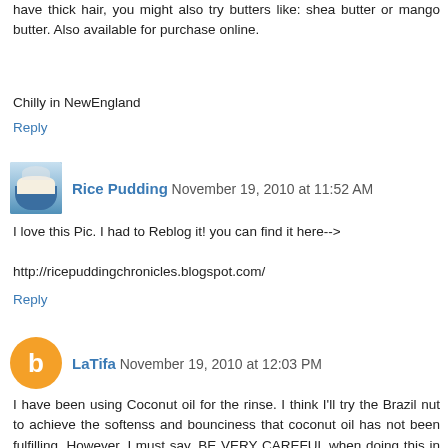have thick hair, you might also try butters like: shea butter or mango butter. Also available for purchase online.
Chilly in NewEngland
Reply
Rice Pudding  November 19, 2010 at 11:52 AM
I love this Pic. I had to Reblog it! you can find it here-->
http://ricepuddingchronicles.blogspot.com/
Reply
LaTifa  November 19, 2010 at 12:03 PM
I have been using Coconut oil for the rinse. I think I'll try the Brazil nut to achieve the softenss and bounciness that coconut oil has not been fulfilling. However, I must say, BE VERY CAREFUL when doing this in the shower. I almost lost my life trying to stand in the oil that I had rinsed out of